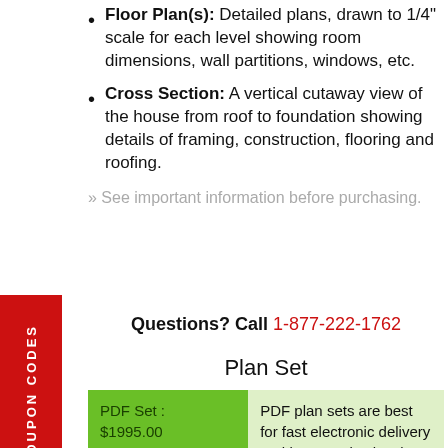Floor Plan(s): Detailed plans, drawn to 1/4" scale for each level showing room dimensions, wall partitions, windows, etc.
Cross Section: A vertical cutaway view of the house from roof to foundation showing details of framing, construction, flooring and roofing.
» See important information before purchasing.
Questions? Call 1-877-222-1762
Plan Set
| PDF Set :
$1995.00 | PDF plan sets are best for fast electronic delivery and inexpensive local printing. |